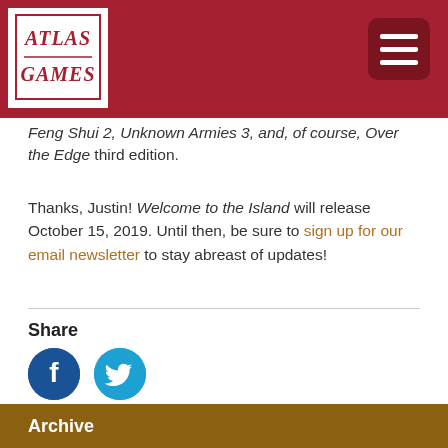Atlas Games
Feng Shui 2, Unknown Armies 3, and, of course, Over the Edge third edition.
Thanks, Justin! Welcome to the Island will release October 15, 2019. Until then, be sure to sign up for our email newsletter to stay abreast of updates!
Share
[Figure (other): Facebook and Twitter share icons]
Categories
On the Edge CCG
Interviews
Archive